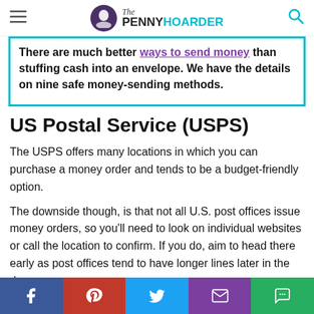The Penny Hoarder
There are much better ways to send money than stuffing cash into an envelope. We have the details on nine safe money-sending methods.
US Postal Service (USPS)
The USPS offers many locations in which you can purchase a money order and tends to be a budget-friendly option.
The downside though, is that not all U.S. post offices issue money orders, so you'll need to look on individual websites or call the location to confirm. If you do, aim to head there early as post offices tend to have longer lines later in the day.
If you're looking to purchase a money order to send to
Social share bar: Facebook, Pinterest, Twitter, Email, Chat